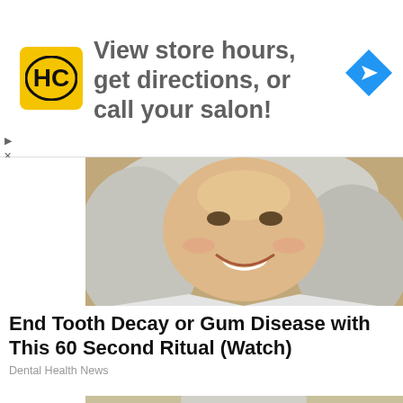[Figure (infographic): Advertisement banner: HC (Hair Club) yellow square logo, text 'View store hours, get directions, or call your salon!', blue diamond navigation arrow icon on right. Small play and X controls on far left below banner.]
[Figure (photo): Photo of a middle-aged woman with long silver-white hair, smiling, dental advertisement image]
End Tooth Decay or Gum Disease with This 60 Second Ritual (Watch)
Dental Health News
[Figure (photo): Photo of an elderly woman holding money/cash bills near her mouth]